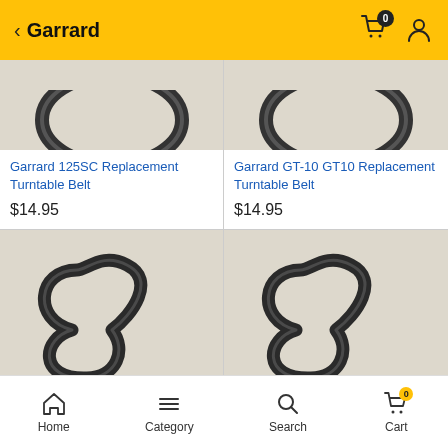Garrard
[Figure (screenshot): Product listing showing Garrard turntable belts in a 2-column grid]
Garrard 125SC Replacement Turntable Belt
$14.95
Garrard GT-10 GT10 Replacement Turntable Belt
$14.95
Home  Category  Search  Cart